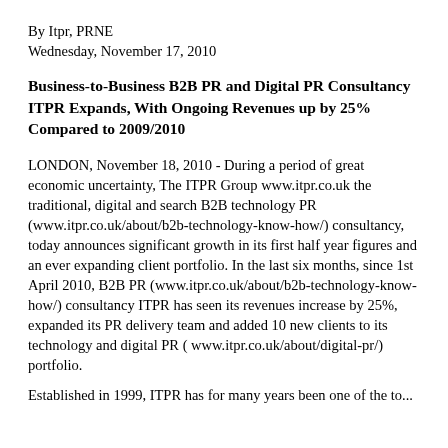By Itpr, PRNE
Wednesday, November 17, 2010
Business-to-Business B2B PR and Digital PR Consultancy ITPR Expands, With Ongoing Revenues up by 25% Compared to 2009/2010
LONDON, November 18, 2010 - During a period of great economic uncertainty, The ITPR Group www.itpr.co.uk the traditional, digital and search B2B technology PR (www.itpr.co.uk/about/b2b-technology-know-how/) consultancy, today announces significant growth in its first half year figures and an ever expanding client portfolio. In the last six months, since 1st April 2010, B2B PR (www.itpr.co.uk/about/b2b-technology-know-how/) consultancy ITPR has seen its revenues increase by 25%, expanded its PR delivery team and added 10 new clients to its technology and digital PR ( www.itpr.co.uk/about/digital-pr/) portfolio.
Established in 1999, ITPR has for many years been one of the to...